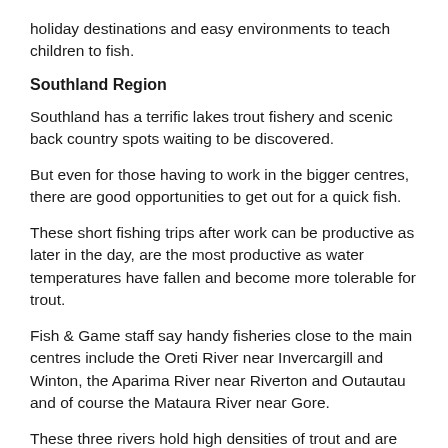holiday destinations and easy environments to teach children to fish.
Southland Region
Southland has a terrific lakes trout fishery and scenic back country spots waiting to be discovered.
But even for those having to work in the bigger centres, there are good opportunities to get out for a quick fish.
These short fishing trips after work can be productive as later in the day, are the most productive as water temperatures have fallen and become more tolerable for trout.
Fish & Game staff say handy fisheries close to the main centres include the Oreti River near Invercargill and Winton, the Aparima River near Riverton and Outautau and of course the Mataura River near Gore.
These three rivers hold high densities of trout and are currently fishing very well.
A quick cast after work in one of these rivers will often result...